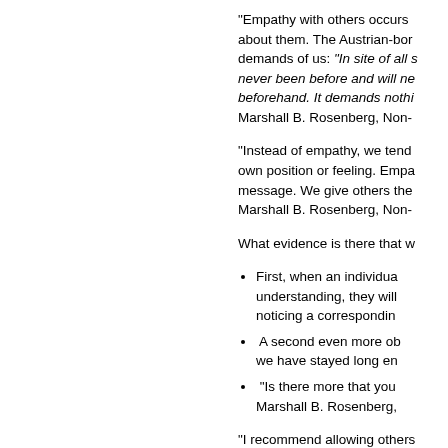"Empathy with others occurs about them. The Austrian-born demands of us: "In site of all s never been before and will ne beforehand. It demands nothi Marshall B. Rosenberg, Non-
"Instead of empathy, we tend own position or feeling. Empa message. We give others the Marshall B. Rosenberg, Non-
What evidence is there that w
First, when an individua understanding, they will noticing a correspondin
A second even more ob we have stayed long en
"Is there more that you Marshall B. Rosenberg,
"I recommend allowing others